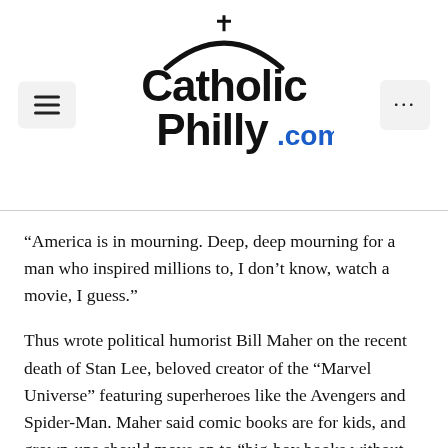CatholicPhilly.com
“America is in mourning. Deep, deep mourning for a man who inspired millions to, I don’t know, watch a movie, I guess.”
Thus wrote political humorist Bill Maher on the recent death of Stan Lee, beloved creator of the “Marvel Universe” featuring superheroes like the Avengers and Spider-Man. Maher said comic books are for kids, and grown-ups should move on to “big-boy books without the pictures.” This complaint is from someone who makes his fortune wisecracking on television.